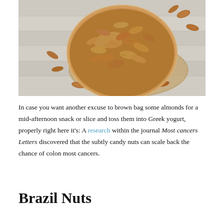[Figure (photo): Overhead photo of a wooden bowl filled with almonds on a burlap mat and white wooden surface, with additional almonds scattered around the bowl.]
In case you want another excuse to brown bag some almonds for a mid-afternoon snack or slice and toss them into Greek yogurt, properly right here it's: A research within the journal Most cancers Letters discovered that the subtly candy nuts can scale back the chance of colon most cancers.
Brazil Nuts